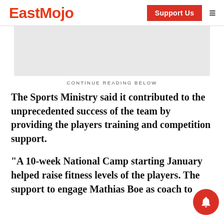EastMojo
[Figure (other): Gray advertisement placeholder banner]
CONTINUE READING BELOW
The Sports Ministry said it contributed to the unprecedented success of the team by providing the players training and competition support.
“A 10-week National Camp starting January helped raise fitness levels of the players. The support to engage Mathias Boe as coach to